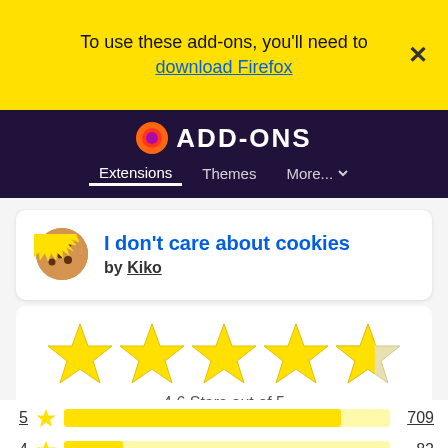To use these add-ons, you'll need to download Firefox
[Figure (screenshot): Firefox ADD-ONS navigation bar with Extensions, Themes, More... tabs on dark purple background with Firefox logo]
I don't care about cookies
by Kiko
[Figure (other): 4.6 out of 5 stars rating display with 5 large yellow stars (last one partially filled)]
4.6 Stars out of 5
| Stars | Icon | Bar | Count |
| --- | --- | --- | --- |
| 5 | ★ | 709/709 wide | 709 |
| 4 | ★ | 82/709 wide | 82 |
| 3 | ★ | 34/709 wide | 34 |
| 2 | ★ | 10/709 wide | 10 |